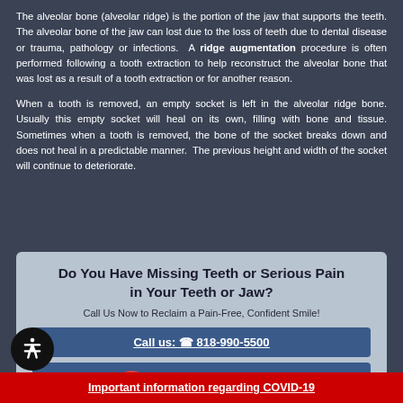The alveolar bone (alveolar ridge) is the portion of the jaw that supports the teeth. The alveolar bone of the jaw can lost due to the loss of teeth due to dental disease or trauma, pathology or infections. A ridge augmentation procedure is often performed following a tooth extraction to help reconstruct the alveolar bone that was lost as a result of a tooth extraction or for another reason.
When a tooth is removed, an empty socket is left in the alveolar ridge bone. Usually this empty socket will heal on its own, filling with bone and tissue. Sometimes when a tooth is removed, the bone of the socket breaks down and does not heal in a predictable manner. The previous height and width of the socket will continue to deteriorate.
Do You Have Missing Teeth or Serious Pain in Your Teeth or Jaw?
Call Us Now to Reclaim a Pain-Free, Confident Smile!
Call us: 818-990-5500
Important information regarding COVID-19